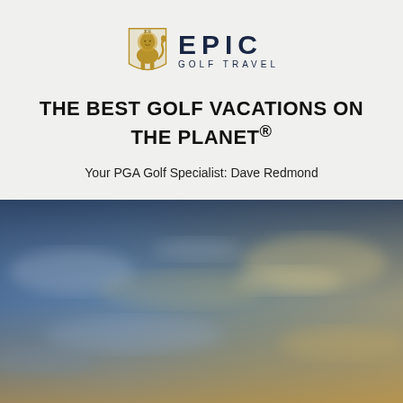[Figure (logo): Epic Golf Travel logo with golden lion crest and bold EPIC GOLF TRAVEL text]
THE BEST GOLF VACATIONS ON THE PLANET®
Your PGA Golf Specialist: Dave Redmond
[Figure (photo): Scenic sky photograph with blue and golden tones suggesting a golf course at sunset or dawn]